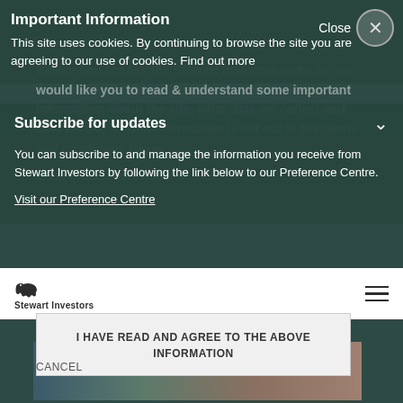Important Information
This site uses cookies. By continuing to browse the site you are agreeing to our use of cookies. Find out more
Subscribe for updates
You can subscribe to and manage the information you receive from Stewart Investors by following the link below to our Preference Centre.
Visit our Preference Centre
Before you access the Stewart Investors website, we would like you to read & understand some important information about the site, what data we collect and how we use it. This information is set out in the terms and conditions below:
1. Important Information
I HAVE READ AND AGREE TO THE ABOVE INFORMATION
CANCEL